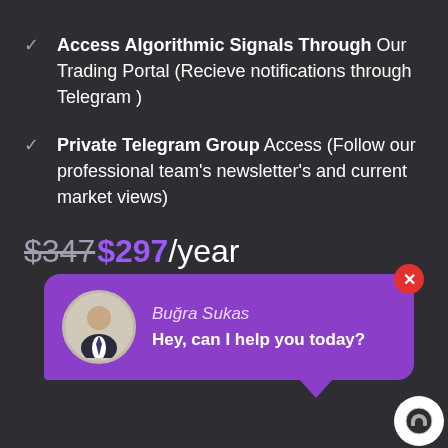Access Algorithmic Signals Through Our Trading Portal (Recieve notifications through Telegram )
Private Telegram Group Access (Follow our professional team's newsletter's and current market views)
$347$297/year
[Figure (screenshot): Chat widget with avatar of Buğra Sukas with message 'Hey, can I help you today?']